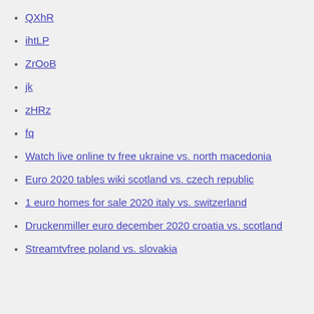QXhR
ihtLP
ZrOoB
jk
zHRz
fq
Watch live online tv free ukraine vs. north macedonia
Euro 2020 tables wiki scotland vs. czech republic
1 euro homes for sale 2020 italy vs. switzerland
Druckenmiller euro december 2020 croatia vs. scotland
Streamtvfree poland vs. slovakia